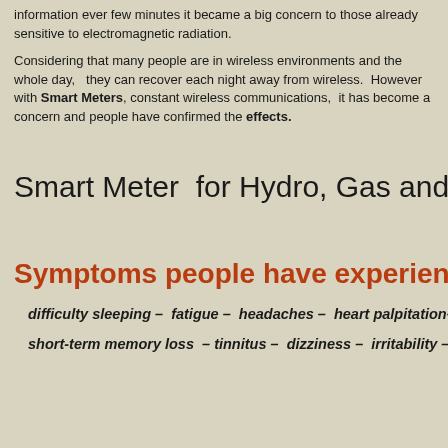information ever few minutes it became a big concern to those already sensitive to electromagnetic radiation.
Considering that many people are in wireless environments and the whole day, they can recover each night away from wireless. However with Smart Meters, constant wireless communications, it has become a concern and people have confirmed the effects.
Smart Meter  for Hydro, Gas and Water
Symptoms people have experienced :
difficulty sleeping –  fatigue –  headaches –  heart palpitation–
short-term memory loss  – tinnitus –  dizziness –  irritability –